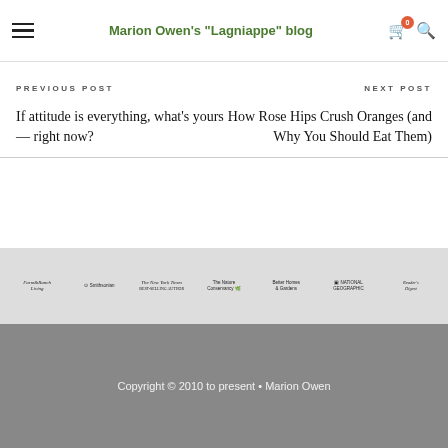Marion Owen's "Lagniappe" blog
PREVIOUS POST
If attitude is everything, what's yours — right now?
NEXT POST
How Rose Hips Crush Oranges (and Why You Should Eat Them)
[Figure (logo): Row of publication logos: Farm & Ranch Living, Smithsonian, The New York Times Best-Selling Author, The Nature Conservancy, Better Homes & Gardens, National Geographic, Reader's Digest]
Copyright © 2010 to present • Marion Owen